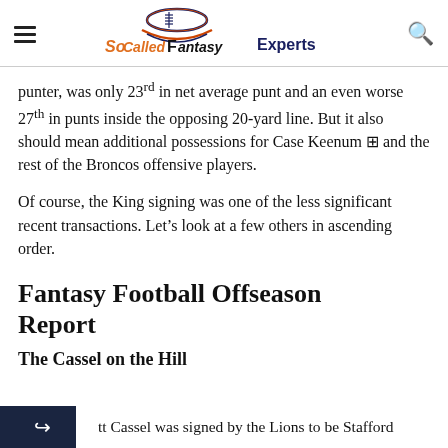SoCalledFantasyExperts
punter, was only 23rd in net average punt and an even worse 27th in punts inside the opposing 20-yard line. But it also should mean additional possessions for Case Keenum and the rest of the Broncos offensive players.
Of course, the King signing was one of the less significant recent transactions. Let's look at a few others in ascending order.
Fantasy Football Offseason Report
The Cassel on the Hill
tt Cassel was signed by the Lions to be Stafford